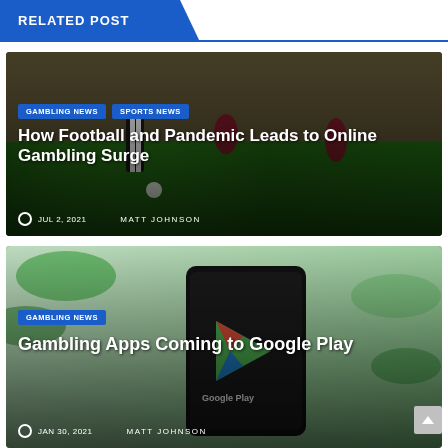RELATED POST
[Figure (photo): Football match photo showing players competing for the ball, with tags GAMBLING NEWS and SPORTS NEWS, title 'How Football and Pandemic Leads to Online Gambling Surge', date JUL 2, 2021, author MATT JOHNSON]
[Figure (photo): Person holding a smartphone displaying the Google Play logo, with green leaves in background, tag GAMBLING NEWS, title 'Gambling Apps Coming to Google Play', date JAN 30, 2021, author MATT JOHNSON]